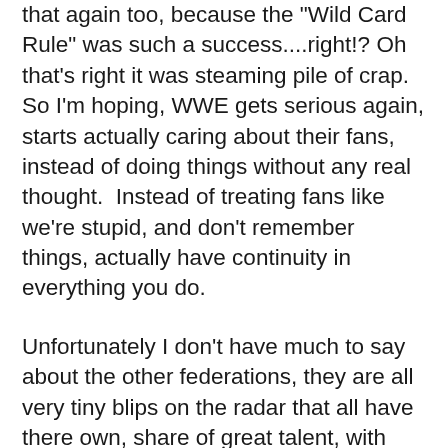that again too, because the "Wild Card Rule" was such a success....right!? Oh that's right it was steaming pile of crap.  So I'm hoping, WWE gets serious again, starts actually caring about their fans, instead of doing things without any real thought.  Instead of treating fans like we're stupid, and don't remember things, actually have continuity in everything you do.
Unfortunately I don't have much to say about the other federations, they are all very tiny blips on the radar that all have there own, share of great talent, with horrible TV deals, so if the likes of ROH, or MLW want to break out they need to get on bigger networks, Impact and WOW are just settling into this new venture with AXSTV so this is probably the best they can do at the moment and that's fine, there was a time